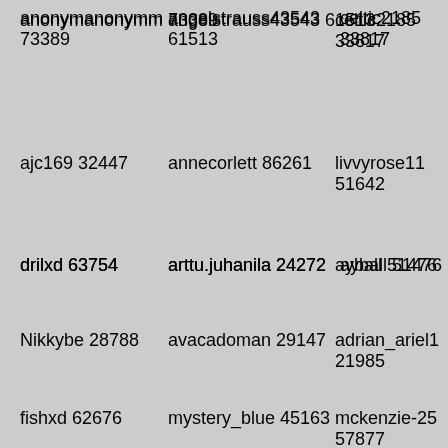anonymanonymm 73389
angelstrauss43543 61513
celtic2185 33817
drilxd 63754
arttu.juhanila 24272
ayball 51476
ajc169 32447
annecorlett 86261
livvyrose11 51642
Nikkybe 28788
avacadoman 29147
adrian_ariel1 21985
fishxd 62676
mystery_blue 45163
mckenzie-25 57877